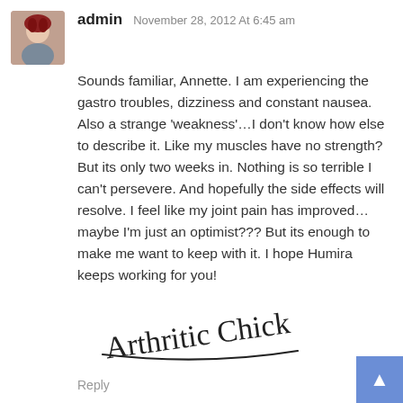admin November 28, 2012 At 6:45 am
Sounds familiar, Annette. I am experiencing the gastro troubles, dizziness and constant nausea. Also a strange ‘weakness’…I don't know how else to describe it. Like my muscles have no strength? But its only two weeks in. Nothing is so terrible I can't persevere. And hopefully the side effects will resolve. I feel like my joint pain has improved…maybe I'm just an optimist??? But its enough to make me want to keep with it. I hope Humira keeps working for you!
[Figure (illustration): Cursive signature reading 'Arthritic Chick' with a hand-drawn underline]
Reply
Elizabeth glass January 21, 2013 At 3:35 am
Are you from the US? I don't understand why your docs are withholding the Embrel from you. My disease is mild